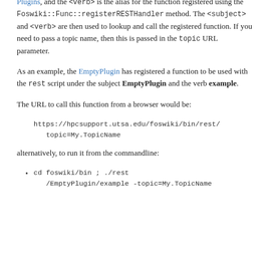where <subject> must be the WikiWord name of one of the installed Plugins, and the <verb> is the alias for the function registered using the Foswiki::Func::registerRESTHandler method. The <subject> and <verb> are then used to lookup and call the registered function. If you need to pass a topic name, then this is passed in the topic URL parameter.
As an example, the EmptyPlugin has registered a function to be used with the rest script under the subject EmptyPlugin and the verb example.
The URL to call this function from a browser would be:
https://hpcsupport.utsa.edu/foswiki/bin/rest/... topic=My.TopicName
alternatively, to run it from the commandline:
cd foswiki/bin ; ./rest /EmptyPlugin/example -topic=My.TopicName